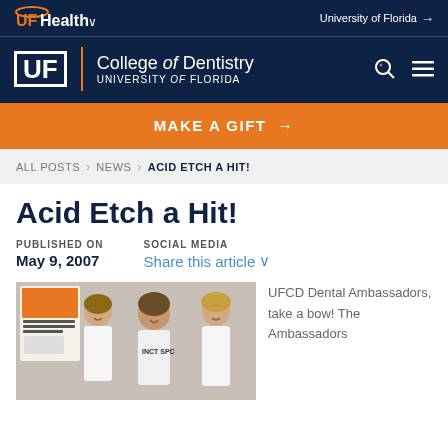UF Health | University of Florida
UF College of Dentistry — University of Florida
MAKE A GIFT →
ALL POSTS > NEWS > ACID ETCH A HIT!
Acid Etch a Hit!
PUBLISHED ON
May 9, 2007
SOCIAL MEDIA
Share this article
[Figure (photo): Three women in white shirts looking at something, one wearing a shirt that says something with letters visible, a poster/sign visible in the background]
UFCD Dental Ambassadors, take a bow! The Ambassadors